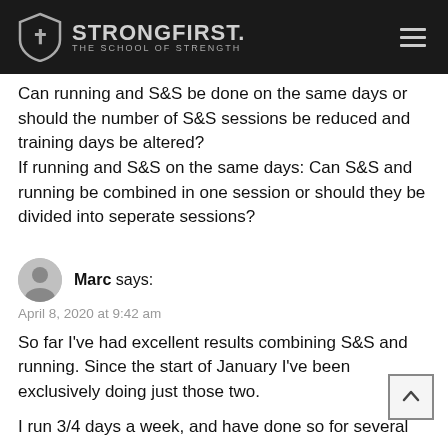StrongFirst. The School of Strength
Can running and S&S be done on the same days or should the number of S&S sessions be reduced and training days be altered? If running and S&S on the same days: Can S&S and running be combined in one session or should they be divided into seperate sessions?
Marc says:
April 8, 2020 at 9:42 am
So far I've had excellent results combining S&S and running. Since the start of January I've been exclusively doing just those two.
I run 3/4 days a week, and have done so for several